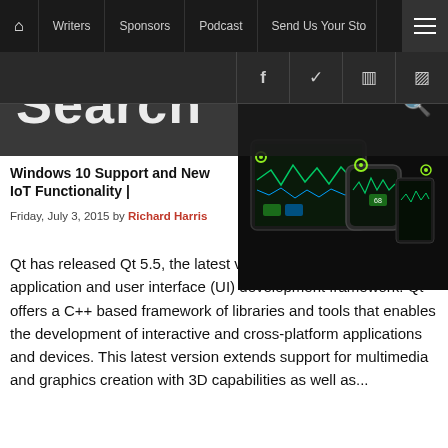Home | Writers | Sponsors | Podcast | Send Us Your Sto... | ☰
f | ✓ | ☷ | )))
Search
Windows 10 Support and New IoT Functionality |
Friday, July 3, 2015 by Richard Harris
[Figure (screenshot): Multiple IoT/embedded devices showing dark UI dashboards with waveform displays]
Qt has released Qt 5.5, the latest version of its cross-platform application and user interface (UI) development framework. Qt offers a C++ based framework of libraries and tools that enables the development of interactive and cross-platform applications and devices. This latest version extends support for multimedia and graphics creation with 3D capabilities as well as...